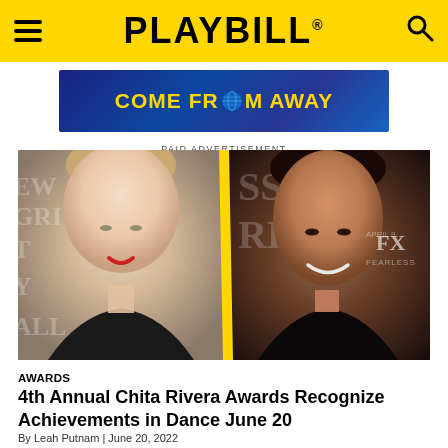PLAYBILL
[Figure (photo): Come From Away musical advertisement banner with globe logo on dark blue background]
PAID ADVERTISEMENT
[Figure (photo): Composite photo of two women side-by-side separated by a yellow diagonal stripe. Left: blonde woman in black dress with red lipstick against gray background with partial text. Right: dark-haired woman smiling at an FX network event.]
AWARDS
4th Annual Chita Rivera Awards Recognize Achievements in Dance June 20
By Leah Putnam | June 20, 2022